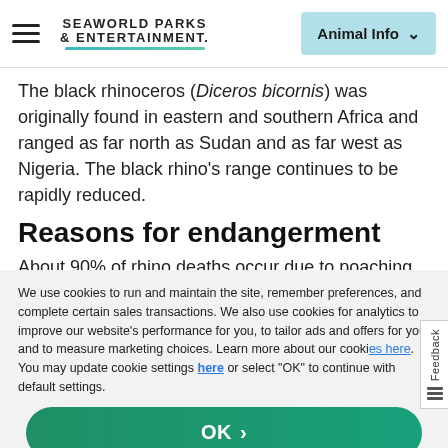SeaWorld Parks & Entertainment — Animal Info
The black rhinoceros (Diceros bicornis) was originally found in eastern and southern Africa and ranged as far north as Sudan and as far west as Nigeria. The black rhino's range continues to be rapidly reduced.
Reasons for endangerment
About 90% of rhino deaths occur due to poaching for the rhino's horn. The horn is used to make dagger handles in North Yemen and to make traditional oriental medicines. In many Asian markets rhino horn sells for $16,535 to $22,046 per kilogram ($7,500–$10,000 per pound), well above the
We use cookies to run and maintain the site, remember preferences, and complete certain sales transactions. We also use cookies for analytics to improve our website's performance for you, to tailor ads and offers for you, and to measure marketing choices. Learn more about our cookies here. You may update cookie settings here or select "OK" to continue with default settings.